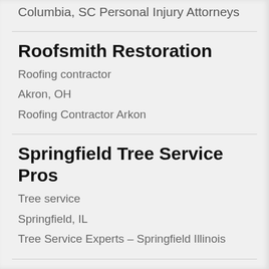Columbia, SC Personal Injury Attorneys
Roofsmith Restoration
Roofing contractor
Akron, OH
Roofing Contractor Arkon
Springfield Tree Service Pros
Tree service
Springfield, IL
Tree Service Experts – Springfield Illinois
S...